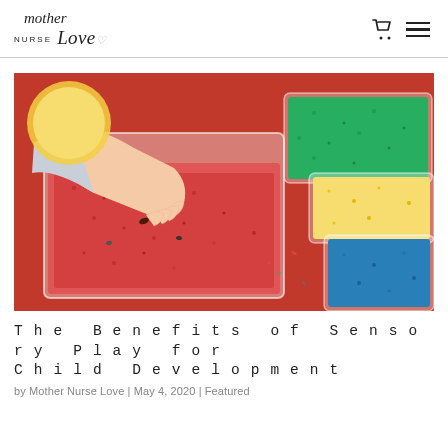Mother Nurse Love | cart icon | menu icon
[Figure (photo): Child's hand reaching into a clear plastic bin filled with red colored rice/sensory material. Other bins visible with green, yellow, and blue colored sensory rice on a red background.]
The Benefits of Sensory Play for Child Development
by Mother Nurse Love | May 4, 2020 | Featured